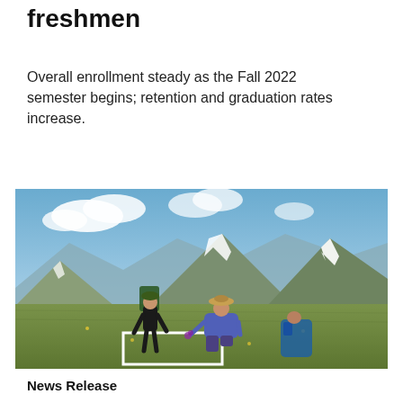freshmen
Overall enrollment steady as the Fall 2022 semester begins; retention and graduation rates increase.
[Figure (photo): Two students working on a field research plot on a mountainside meadow with snow-patched peaks in the background. One student wears a large backpack and hat, the other kneels in a purple shirt. A white square frame is laid on the ground.]
News Release